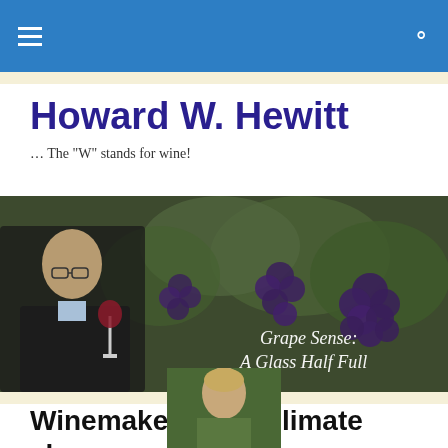Navigation bar with hamburger menu and search icon
Howard W. Hewitt
… The "W" stands for wine!
[Figure (photo): Banner photo of a man in a dark jacket holding a glass of red wine, with grape vines and clusters of dark grapes in the background. Text overlay reads: Grape Sense: A Glass Half Full]
Winemakers face climate change
[Figure (photo): Thumbnail portrait photo of a person outdoors with green foliage background]